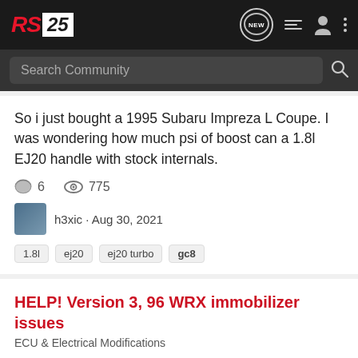RS25
Search Community
So i just bought a 1995 Subaru Impreza L Coupe. I was wondering how much psi of boost can a 1.8l EJ20 handle with stock internals.
6  775
h3xic · Aug 30, 2021
1.8l  ej20  ej20 turbo  gc8
HELP! Version 3, 96 WRX immobilizer issues
ECU & Electrical Modifications
I have an 96 version 3 WRX with an EJ20G and 8S ECU currently installed. The car has an immobilizer and wont start, there's no power heading to the fuel pump and it